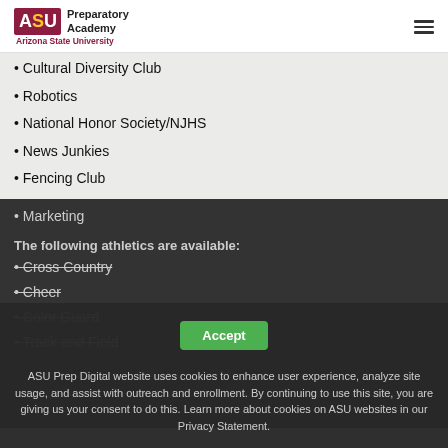[Figure (logo): ASU Preparatory Academy logo with Arizona State University text]
• Cultural Diversity Club
• Robotics
• National Honor Society/NJHS
• News Junkies
• Fencing Club
• Marketing
The following athletics are available:
• Cross Country
• Cheer
• Color Guard
• Track and Field
ASU Prep Digital website uses cookies to enhance user experience, analyze site usage, and assist with outreach and enrollment. By continuing to use this site, you are giving us your consent to do this. Learn more about cookies on ASU websites in our Privacy Statement.